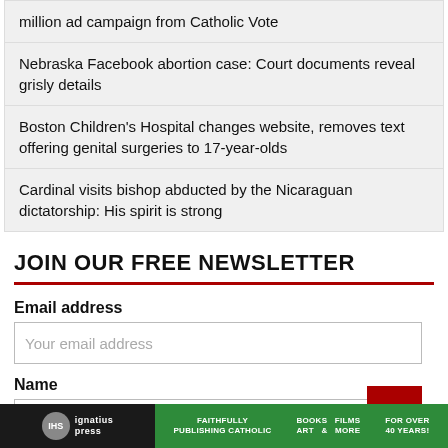million ad campaign from Catholic Vote
Nebraska Facebook abortion case: Court documents reveal grisly details
Boston Children's Hospital changes website, removes text offering genital surgeries to 17-year-olds
Cardinal visits bishop abducted by the Nicaraguan dictatorship: His spirit is strong
JOIN OUR FREE NEWSLETTER
Email address
Your email address
Name
[Figure (logo): Ignatius Press logo and advertisement banner: FAITHFULLY PUBLISHING CATHOLIC | BOOKS FILMS ART & MORE | FOR OVER 40 YEARS!]